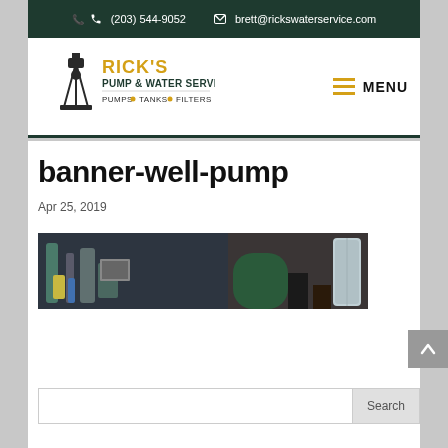(203) 544-9052   brett@rickswaterservice.com
[Figure (logo): Rick's Pump & Water Service logo with pump illustration. Text reads: RICK'S PUMP & WATER SERVICE, PUMPS • TANKS • FILTERS]
banner-well-pump
Apr 25, 2019
[Figure (photo): Banner image showing well pump equipment installation with technician working in a utility/mechanical room with pipes, tanks and water treatment equipment]
Search